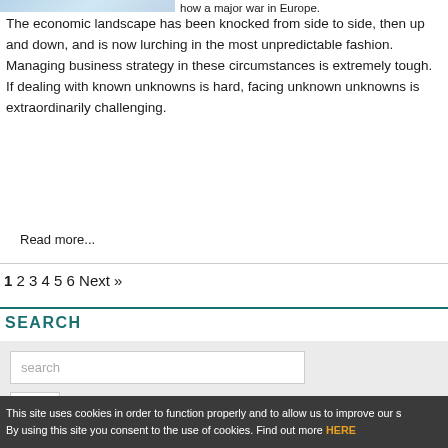[Figure (photo): Partial view of a person in blue/light clothing, cropped at top]
how a major war in Europe.
The economic landscape has been knocked from side to side, then up and down, and is now lurching in the most unpredictable fashion. Managing business strategy in these circumstances is extremely tough. If dealing with known unknowns is hard, facing unknown unknowns is extraordinarily challenging.
Read more...
1 2 3 4 5 6 Next »
SEARCH
[Figure (screenshot): Search input box with placeholder text 'search' and a search button with magnifying glass icon]
This site uses cookies in order to function properly and to allow us to improve our s By using this site you consent to the use of cookies. Find out more HERE